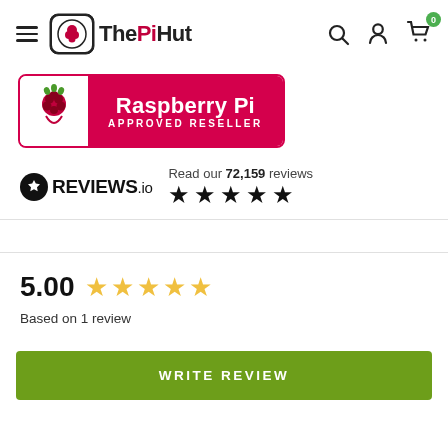The PiHut — navigation bar with hamburger menu, logo, search, account, and cart icons
[Figure (logo): Raspberry Pi Approved Reseller badge with raspberry logo, pink/red background, white text]
[Figure (logo): REVIEWS.io logo with star badge icon. Shows 'Read our 72,159 reviews' with 5 black stars]
5.00
Based on 1 review
WRITE REVIEW